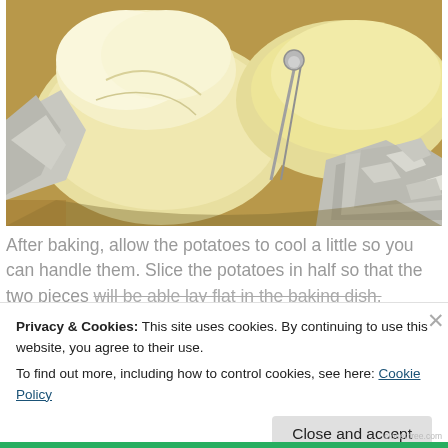[Figure (photo): Close-up photo of baked potatoes wrapped in aluminum foil, with a metal utensil visible among the potatoes on a foil-lined tray.]
After baking, allow the potatoes to cool a little so you can handle them. Slice the potatoes in half so that the two pieces will be able lay flat in the baking dish. Russet potatoes work
Privacy & Cookies: This site uses cookies. By continuing to use this website, you agree to their use.
To find out more, including how to control cookies, see here: Cookie Policy
Close and accept